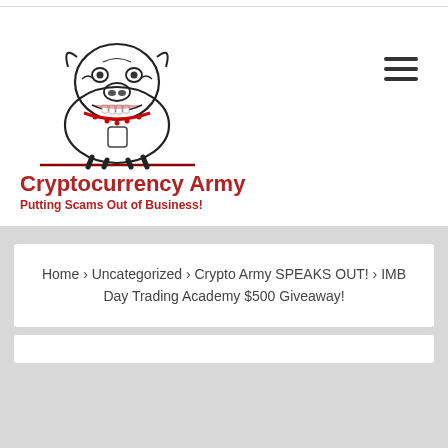[Figure (logo): Cryptocurrency Army logo: black and white bulldog illustration with red accents on collar/teeth, standing on a horizontal line]
Cryptocurrency Army
Putting Scams Out of Business!
Home › Uncategorized › Crypto Army SPEAKS OUT! › IMB Day Trading Academy $500 Giveaway!